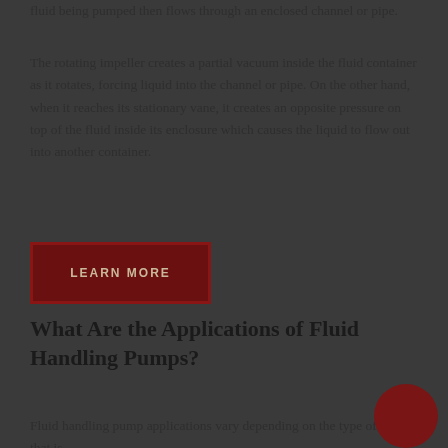fluid being pumped then flows through an enclosed channel or pipe.
The rotating impeller creates a partial vacuum inside the fluid container as it rotates, forcing liquid into the channel or pipe. On the other hand, when it reaches its stationary vane, it creates an opposite pressure on top of the fluid inside its enclosure which causes the liquid to flow out into another container.
[Figure (other): A dark red/maroon rectangular button with the text LEARN MORE in uppercase beige letters]
What Are the Applications of Fluid Handling Pumps?
Fluid handling pump applications vary depending on the type of model that is